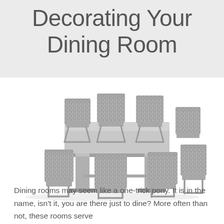Decorating Your Dining Room
[Figure (photo): Modern dining table set with a rectangular grey concrete-look table and six upholstered chairs with silver metal cantilever bases, fabric in grey/black pattern, photographed on white background]
Dining rooms may seem like a one-trick pony. It is in the name, isn't it, you are there just to dine? More often than not, these rooms serve